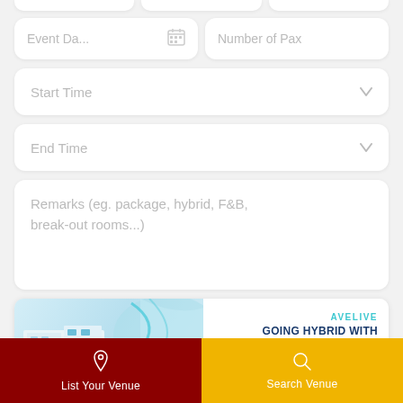[Figure (screenshot): Form fields: Event Date (with calendar icon) and Number of Pax input fields side by side]
Start Time (dropdown field with chevron)
End Time (dropdown field with chevron)
Remarks (eg. package, hybrid, F&B, break-out rooms...)
[Figure (illustration): AveLIVE banner ad showing a futuristic exhibition hall with people, teal flowing lines, and text: AVELIVE / GOING HYBRID WITH / OUR VIRTUAL EVENT PLATFORM / AVELIVE]
I would like to know more about AveLIVE Hybrid / Virtual Event packages.
List Your Venue
Search Venue